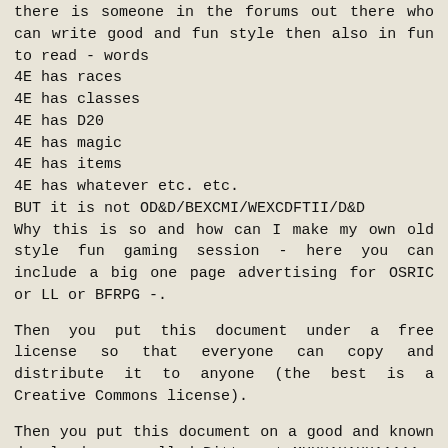there is someone in the forums out there who can write good and fun style then also in fun to read - words
4E has races
4E has classes
4E has D20
4E has magic
4E has items
4E has whatever etc. etc.
BUT it is not OD&D/BEXCMI/WEXCDFTII/D&D
Why this is so and how can I make my own old style fun gaming session - here you can include a big one page advertising for OSRIC or LL or BFRPG -.
Then you put this document under a free license so that everyone can copy and distribute it to anyone (the best is a Creative Commons license).
Then you put this document on a good and known download page called Bittorent MUHHAHAHHAAAAA
Bastard at the bus stop